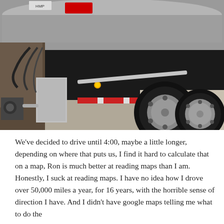[Figure (photo): Close-up photograph of the underside/rear axle area of a large semi-truck or tanker truck, showing dual rear tires, chrome wheel hubs, mud flap, undercarriage components, hoses, and a red-and-white reflective bar. The truck body is silver/metallic.]
We've decided to drive until 4:00, maybe a little longer, depending on where that puts us, I find it hard to calculate that on a map, Ron is much better at reading maps than I am. Honestly, I suck at reading maps. I have no idea how I drove over 50,000 miles a year, for 16 years, with the horrible sense of direction I have. And I didn't have google maps telling me what to do the